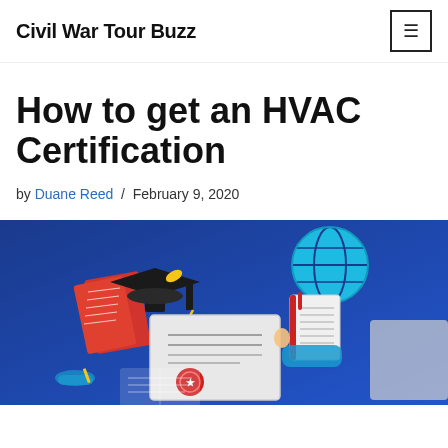Civil War Tour Buzz
How to get an HVAC Certification
by Duane Reed / February 9, 2020
[Figure (illustration): Blue background illustration showing education and certification elements: an open book with a graduation cap, a certificate with a red seal, a person reading a book, a globe, and other educational icons.]